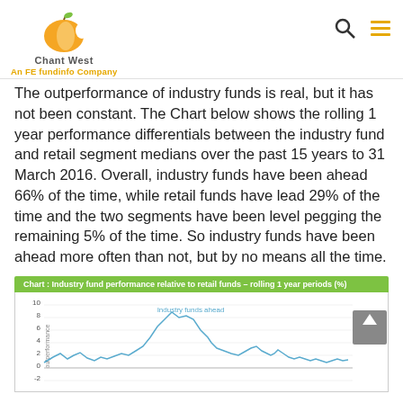Chant West — An FE fundinfo Company
The outperformance of industry funds is real, but it has not been constant. The Chart below shows the rolling 1 year performance differentials between the industry fund and retail segment medians over the past 15 years to 31 March 2016. Overall, industry funds have been ahead 66% of the time, while retail funds have lead 29% of the time and the two segments have been level pegging the remaining 5% of the time. So industry funds have been ahead more often than not, but by no means all the time.
Chart: Industry fund performance relative to retail funds – rolling 1 year periods (%)
[Figure (continuous-plot): Line chart showing industry fund performance relative to retail funds over rolling 1 year periods (%). Y-axis ranges from approximately -4 to 10. A label 'Industry funds ahead' appears near the top. The line fluctuates showing periods of out- and underperformance.]